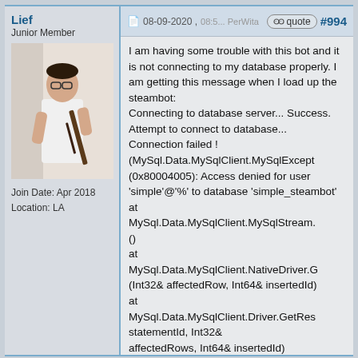Lief
Junior Member
[Figure (photo): Profile photo of user Lief: person in white t-shirt holding a rifle]
Join Date: Apr 2018
Location: LA
08-09-2020 , 08:5... PerWita   quote  #994
I am having some trouble with this bot and it is not connecting to my database properly. I am getting this message when I load up the steambot:
Connecting to database server... Success.
Attempt to connect to database...
Connection failed !
(MySql.Data.MySqlClient.MySqlExcept
(0x80004005): Access denied for user 'simple'@'%' to database 'simple_steambot'
at
MySql.Data.MySqlClient.MySqlStream.
()
at
MySql.Data.MySqlClient.NativeDriver.G
(Int32& affectedRow, Int64& insertedId)
at
MySql.Data.MySqlClient.Driver.GetRes
statementId, Int32&
affectedRows, Int64& insertedId)
at